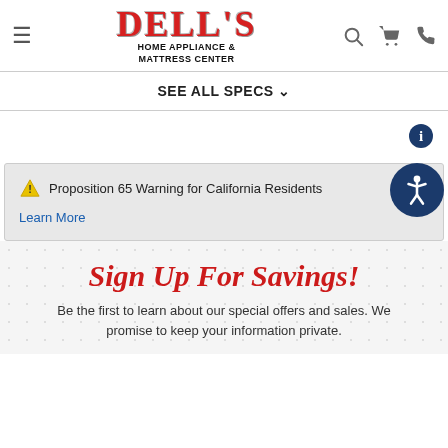[Figure (logo): Dell's Home Appliance & Mattress Center logo with red distressed lettering and navigation icons (hamburger menu, search, cart, phone)]
SEE ALL SPECS ∨
Proposition 65 Warning for California Residents
Learn More
Sign Up For Savings!
Be the first to learn about our special offers and sales. We promise to keep your information private.